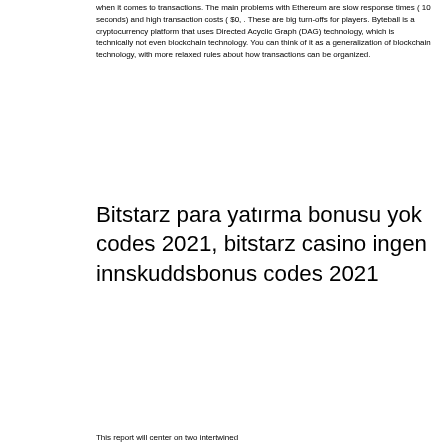when it comes to transactions. The main problems with Ethereum are slow response times ( 10 seconds) and high transaction costs ( $0, . These are big turn-offs for players. Byteball is a cryptocurrency platform that uses Directed Acyclic Graph (DAG) technology, which is technically not even blockchain technology. You can think of it as a generalization of blockchain technology, with more relaxed rules about how transactions can be organized.
Bitstarz para yatırma bonusu yok codes 2021, bitstarz casino ingen innskuddsbonus codes 2021
This report will center on two intertwined